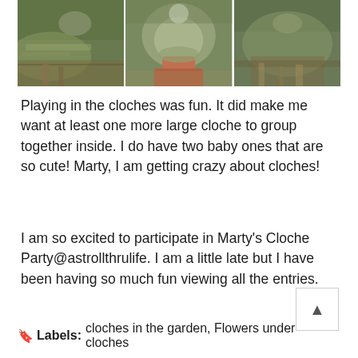[Figure (photo): Three-panel composite photo showing garden scene with moss-covered objects, a terracotta pot, and green grass/pine needles on ground]
Playing in the cloches was fun. It did make me want at least one more large cloche to group together inside. I do have two baby ones that are so cute! Marty, I am getting crazy about cloches!
I am so excited to participate in Marty's Cloche Party@astrollthrulife. I am a little late but I have been having so much fun viewing all the entries.
Labels: cloches in the garden, Flowers under cloches